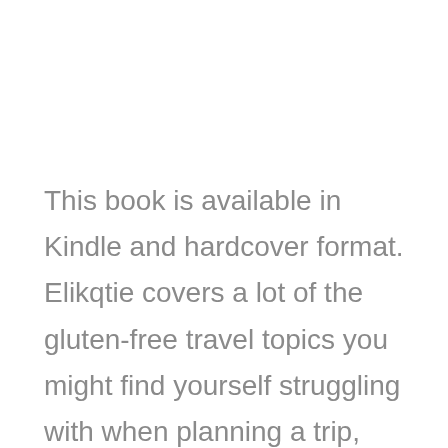This book is available in Kindle and hardcover format. Elikqtie covers a lot of the gluten-free travel topics you might find yourself struggling with when planning a trip, whether it's a simple weekend getaway or a week-long vacation. Elikqitie has gone into outstanding detail about where to find gluten-free food that is safe to eat,